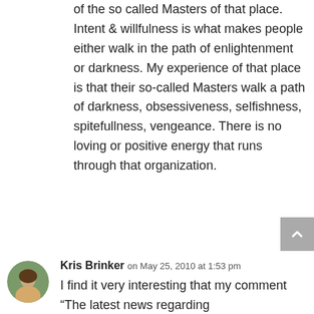of the so called Masters of that place. Intent & willfulness is what makes people either walk in the path of enlightenment or darkness. My experience of that place is that their so-called Masters walk a path of darkness, obsessiveness, selfishness, spitefullness, vengeance. There is no loving or positive energy that runs through that organization.
[Figure (photo): Circular avatar photo of Kris Brinker]
Kris Brinker on May 25, 2010 at 1:53 pm
I find it very interesting that my comment “The latest news regarding